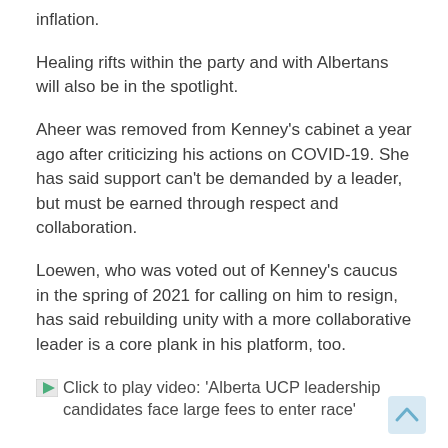inflation.
Healing rifts within the party and with Albertans will also be in the spotlight.
Aheer was removed from Kenney’s cabinet a year ago after criticizing his actions on COVID-19. She has said support can’t be demanded by a leader, but must be earned through respect and collaboration.
Loewen, who was voted out of Kenney’s caucus in the spring of 2021 for calling on him to resign, has said rebuilding unity with a more collaborative leader is a core plank in his platform, too.
Click to play video: ‘Alberta UCP leadership candidates face large fees to enter race’